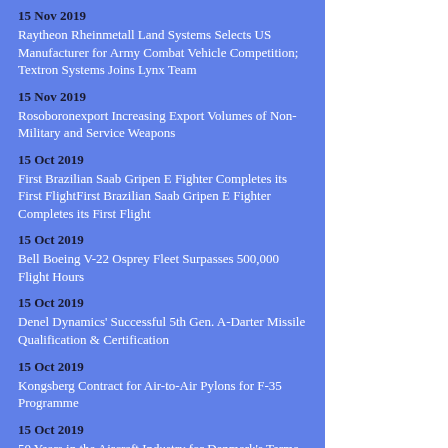15 Nov 2019
Raytheon Rheinmetall Land Systems Selects US Manufacturer for Army Combat Vehicle Competition; Textron Systems Joins Lynx Team
15 Nov 2019
Rosoboronexport Increasing Export Volumes of Non-Military and Service Weapons
15 Oct 2019
First Brazilian Saab Gripen E Fighter Completes its First FlightFirst Brazilian Saab Gripen E Fighter Completes its First Flight
15 Oct 2019
Bell Boeing V-22 Osprey Fleet Surpasses 500,000 Flight Hours
15 Oct 2019
Denel Dynamics' Successful 5th Gen. A-Darter Missile Qualification & Certification
15 Oct 2019
Kongsberg Contract for Air-to-Air Pylons for F-35 Programme
15 Oct 2019
50 Years in the Aircraft Industry for Denmark's Terma